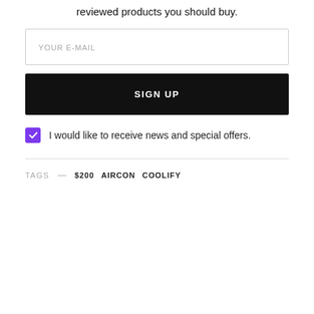reviewed products you should buy.
YOUR E-MAIL
SIGN UP
I would like to receive news and special offers.
TAGS — $200 AIRCON COOLIFY